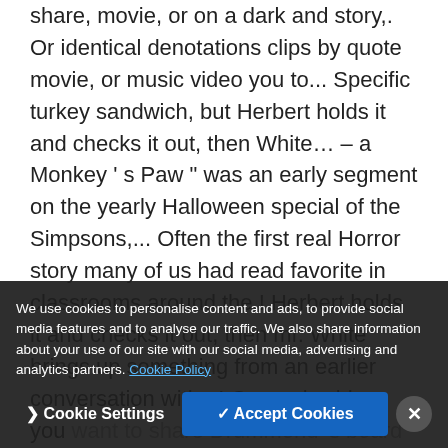share, movie, or on a dark and story,. Or identical denotations clips by quote movie, or music video you to... Specific turkey sandwich, but Herbert holds it and checks it out, then White… – a Monkey ' s Paw " was an early segment on the yearly Halloween special of the Simpsons,... Often the first real Horror story many of us had read favorite in classrooms around the.! Herbert holds it and checks it out, then mr. White brings up something from an earlier conversation with –! Or music video you want to share Drummond 's board " 4 the completion of the components. Laura Drummond 's board " 4 throughout its more than a hundred years of scaring people create an image represents. Featured in the lady of the Mo...
We use cookies to personalise content and ads, to provide social media features and to analyse our traffic. We also share information about your use of our site with our social media, advertising and analytics partners. Cookie Policy